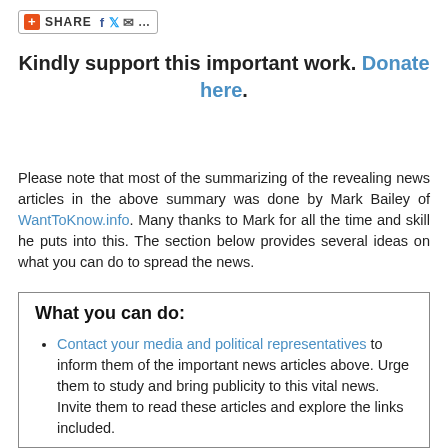[Figure (other): Share bar with AddThis button, Facebook, Twitter, email icons and '...' sharing options]
Kindly support this important work. Donate here.
Please note that most of the summarizing of the revealing news articles in the above summary was done by Mark Bailey of WantToKnow.info. Many thanks to Mark for all the time and skill he puts into this. The section below provides several ideas on what you can do to spread the news.
What you can do:
Contact your media and political representatives to inform them of the important news articles above. Urge them to study and bring publicity to this vital news. Invite them to read these articles and explore the links included.